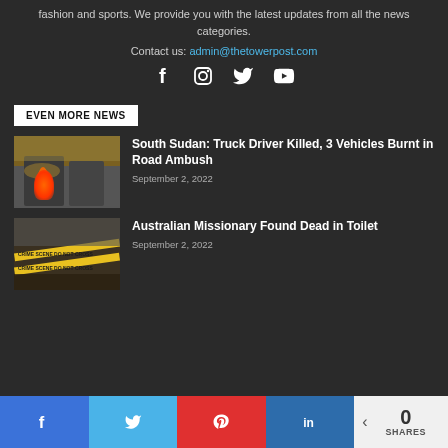fashion and sports. We provide you with the latest updates from all the news categories.
Contact us: admin@thetowerpost.com
[Figure (other): Social media icons: Facebook, Instagram, Twitter, YouTube]
EVEN MORE NEWS
[Figure (photo): Burned vehicles on road, smoke and fire visible]
South Sudan: Truck Driver Killed, 3 Vehicles Burnt in Road Ambush
September 2, 2022
[Figure (photo): Crime scene tape, yellow tape reading CRIME SCENE DO NOT CROSS]
Australian Missionary Found Dead in Toilet
September 2, 2022
0 SHARES — Share buttons: Facebook, Twitter, Pinterest, LinkedIn